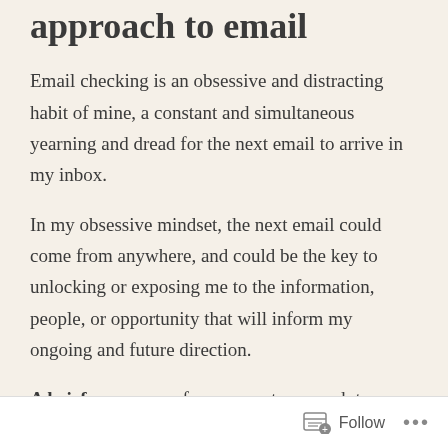approach to email
Email checking is an obsessive and distracting habit of mine, a constant and simultaneous yearning and dread for the next email to arrive in my inbox.
In my obsessive mindset, the next email could come from anywhere, and could be the key to unlocking or exposing me to the information, people, or opportunity that will inform my ongoing and future direction.
A brief summary of my current approach to email, mostly recounted below as a way to self-
Follow ...